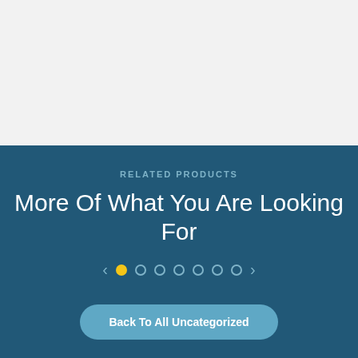[Figure (screenshot): Light gray background top section of a webpage]
RELATED PRODUCTS
More Of What You Are Looking For
[Figure (infographic): Carousel navigation with left arrow, 7 dots (first dot filled yellow, rest outlined in light blue), and right arrow]
Back To All Uncategorized